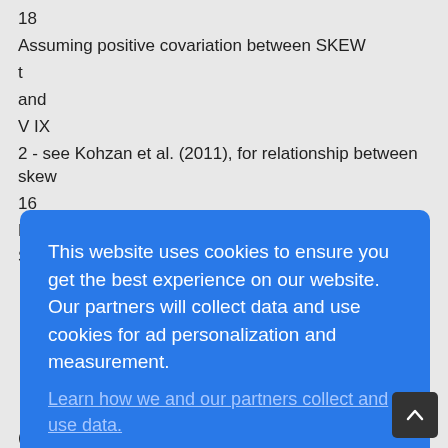18
Assuming positive covariation between SKEW
t
and
V IX
2 - see Kohzan et al. (2011), for relationship between skew
16
Figure 19: Coeffcient Decomposition of β
SKEW
This website uses cookies to ensure you get the best experience on our website. Our partners will collect data and use cookies for ad personalization and measurement.
Learn how we and our partners collect and use data.
OK
(